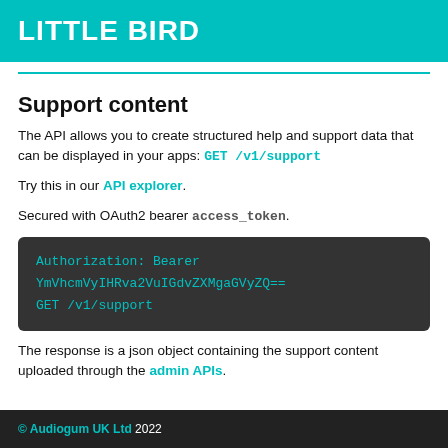LITTLE BIRD
Support content
The API allows you to create structured help and support data that can be displayed in your apps: GET /v1/support
Try this in our API explorer.
Secured with OAuth2 bearer access_token.
Authorization: Bearer YmVhcmVyIHRva2VuIGdvZXMgaGVyZQ==
GET /v1/support
The response is a json object containing the support content uploaded through the admin APIs.
© Audiogum UK Ltd 2022